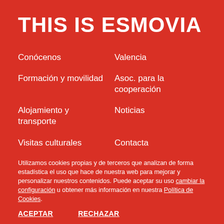THIS IS ESMOVIA
Conócenos
Valencia
Formación y movilidad
Asoc. para la cooperación
Alojamiento y transporte
Noticias
Visitas culturales
Contacta
Utilizamos cookies propias y de terceros que analizan de forma estadística el uso que hace de nuestra web para mejorar y personalizar nuestros contenidos. Puede aceptar su uso cambiar la configuración u obtener más información en nuestra Política de Cookies.
ACEPTAR   RECHAZAR